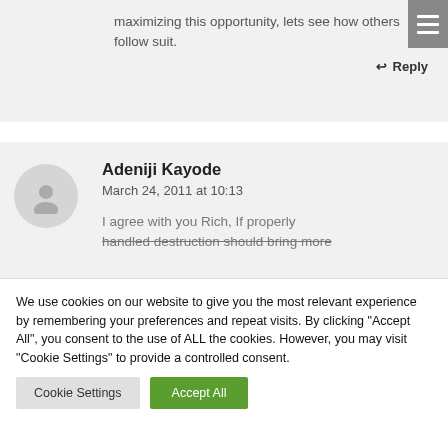maximizing this opportunity, lets see how others follow suit.
↩ Reply
Adeniji Kayode
March 24, 2011 at 10:13
I agree with you Rich, If properly handled destruction should bring more
We use cookies on our website to give you the most relevant experience by remembering your preferences and repeat visits. By clicking "Accept All", you consent to the use of ALL the cookies. However, you may visit "Cookie Settings" to provide a controlled consent.
Cookie Settings
Accept All